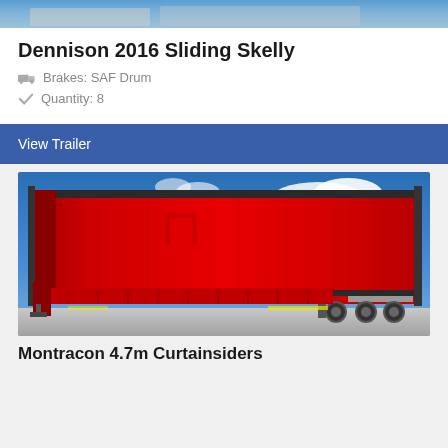[Figure (photo): Top banner photo strip showing a truck/trailer scene]
Dennison 2016 Sliding Skelly
Brakes: SAF Drum
Quantity: 8
View Trailer
[Figure (photo): Red curtainsider semi-trailer photographed outdoors against a blue sky with clouds. The trailer has red curtain sides and black frame, with three axles visible.]
Montracon 4.7m Curtainsiders